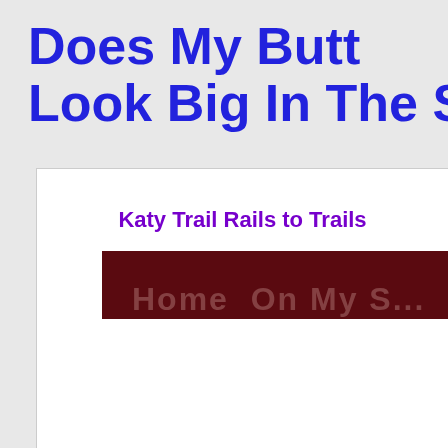Does My Butt Look Big In The Saddle?
Katy Trail Rails to Trails
[Figure (photo): Dark maroon/brown banner image, partially visible, appearing to be a website header for Katy Trail Rails to Trails]